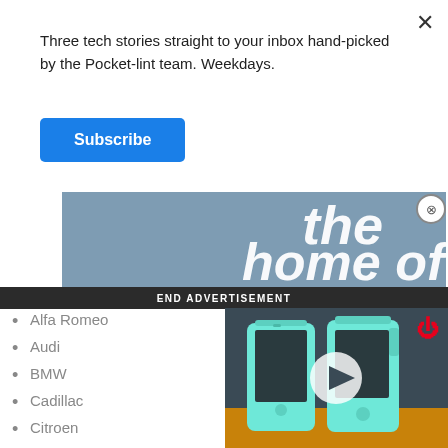Three tech stories straight to your inbox hand-picked by the Pocket-lint team. Weekdays.
Subscribe
[Figure (screenshot): Advertisement banner with text 'the home of' in large italic white font on a stone/concrete texture background]
END ADVERTISEMENT
[Figure (screenshot): Video thumbnail showing two OnePlus smartphones in mint green color on an orange surface, with a play button overlay and a red power icon]
Alfa Romeo
Audi
BMW
Cadillac
Citroen
Dacia
Dodge
Fiat